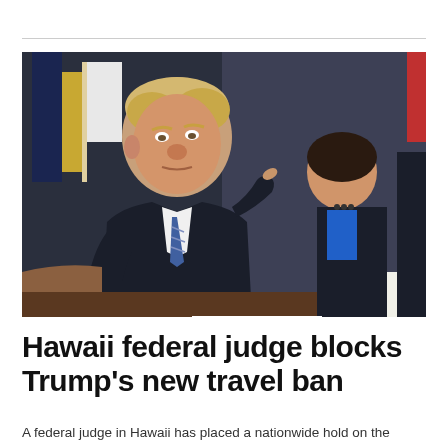[Figure (photo): A man in a dark suit with a striped tie sits at a conference table, resting his finger on his temple in a thoughtful pose. A woman in a blue top and dark jacket sits behind him. American flags are visible in the background.]
WORLD
Hawaii federal judge blocks Trump's new travel ban
A federal judge in Hawaii has placed a nationwide hold on the